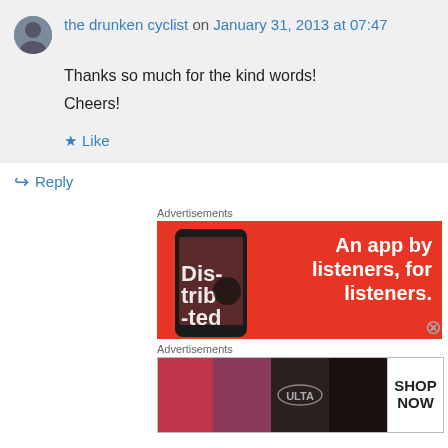the drunken cyclist on January 31, 2013 at 07:47
Thanks so much for the kind words!
Cheers!
Like
Reply
Advertisements
[Figure (infographic): Red advertisement banner: phone showing 'Dis-trib-uted' app on screen, with text 'An app by listeners, for listeners.']
Advertisements
[Figure (infographic): Beauty advertisement banner showing cosmetic images and ULTA logo with SHOP NOW text]